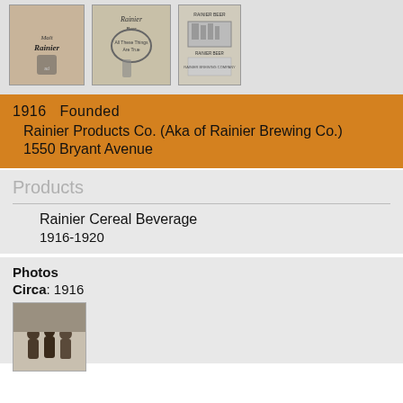[Figure (photo): Three vintage advertisement images for Malt Rainier and Rainier Beer]
1916   Founded
    Rainier Products Co. (Aka of Rainier Brewing Co.)
    1550 Bryant Avenue
Products
Rainier Cereal Beverage
1916-1920
Photos
Circa: 1916
[Figure (photo): Black and white photo circa 1916 showing people outdoors]